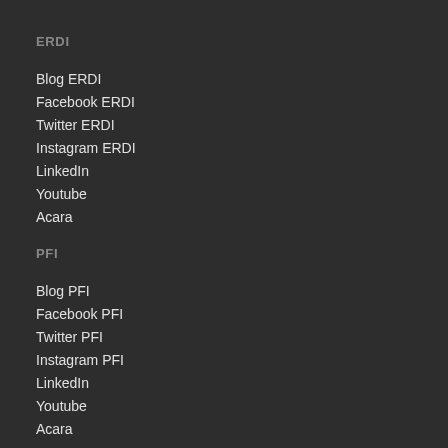ERDI
Blog ERDI
Facebook ERDI
Twitter ERDI
Instagram ERDI
LinkedIn
Youtube
Acara
PFI
Blog PFI
Facebook PFI
Twitter PFI
Instagram PFI
LinkedIn
Youtube
Acara
HUBUNGI KAMI